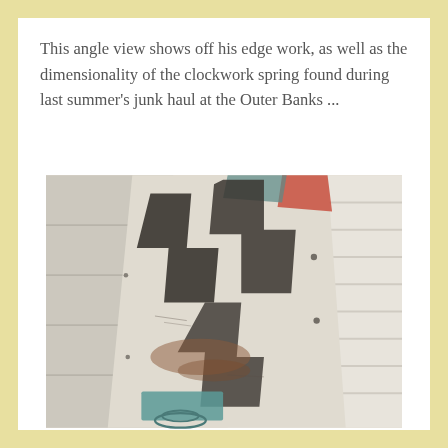This angle view shows off his edge work, as well as the dimensionality of the clockwork spring found during last summer's junk haul at the Outer Banks ...
[Figure (photo): Angled view of a worn, weathered skateboard deck or wooden board leaning against a white slatted wall. The board shows painted dark angular arrow-like designs (double chevrons/lightning bolts) in dark brown/black, with areas of teal/blue and red paint, rust stains, and distressed surfaces. A teal rectangular patch and circular coil design appear near the bottom.]